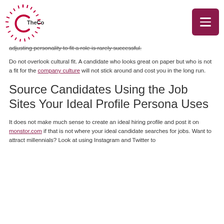TheConnection. [logo + menu button]
adjusting personality to fit a role is rarely successful.
Do not overlook cultural fit. A candidate who looks great on paper but who is not a fit for the company culture will not stick around and cost you in the long run.
Source Candidates Using the Job Sites Your Ideal Profile Persona Uses
It does not make much sense to create an ideal hiring profile and post it on monstor.com if that is not where your ideal candidate searches for jobs. Want to attract millennials? Look at using Instagram and Twitter to